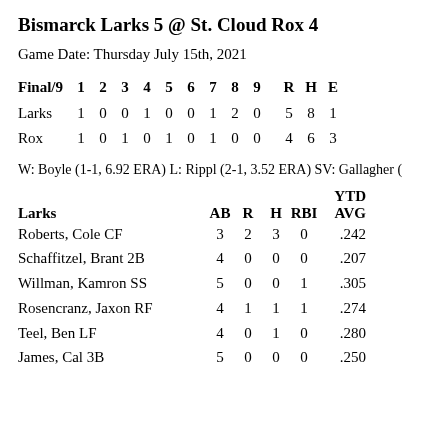Bismarck Larks 5 @ St. Cloud Rox 4
Game Date: Thursday July 15th, 2021
| Final/9 | 1 | 2 | 3 | 4 | 5 | 6 | 7 | 8 | 9 | R | H | E |
| --- | --- | --- | --- | --- | --- | --- | --- | --- | --- | --- | --- | --- |
| Larks | 1 | 0 | 0 | 1 | 0 | 0 | 1 | 2 | 0 | 5 | 8 | 1 |
| Rox | 1 | 0 | 1 | 0 | 1 | 0 | 1 | 0 | 0 | 4 | 6 | 3 |
W: Boyle (1-1, 6.92 ERA) L: Rippl (2-1, 3.52 ERA) SV: Gallagher (
| Larks | AB | R | H | RBI | YTD AVG |
| --- | --- | --- | --- | --- | --- |
| Roberts, Cole CF | 3 | 2 | 3 | 0 | .242 |
| Schaffitzel, Brant 2B | 4 | 0 | 0 | 0 | .207 |
| Willman, Kamron SS | 5 | 0 | 0 | 1 | .305 |
| Rosencranz, Jaxon RF | 4 | 1 | 1 | 1 | .274 |
| Teel, Ben LF | 4 | 0 | 1 | 0 | .280 |
| James, Cal 3B | 5 | 0 | 0 | 0 | .250 |